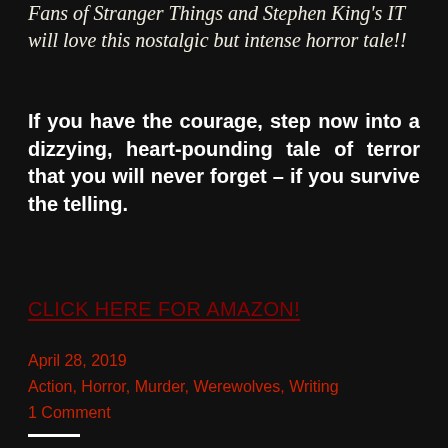Fans of Stranger Things and Stephen King's IT will love this nostalgic but intense horror tale!!
If you have the courage, step now into a dizzying, heart-pounding tale of terror that you will never forget – if you survive the telling.
CLICK HERE FOR AMAZON!
April 28, 2019
Action, Horror, Murder, Werewolves, Writing
1 Comment